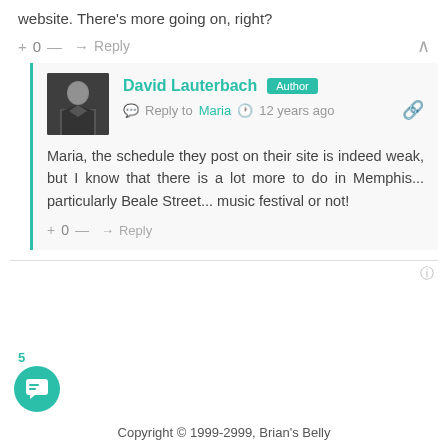website. There's more going on, right?
+ 0 — → Reply
David Lauterbach [Author] Reply to Maria 12 years ago
Maria, the schedule they post on their site is indeed weak, but I know that there is a lot more to do in Memphis... particularly Beale Street... music festival or not!
+ 0 — → Reply
Copyright © 1999-2999, Brian's Belly